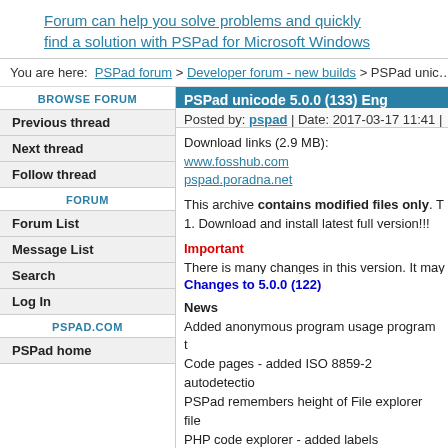Forum can help you solve problems and quickly find a solution with PSPad for Microsoft Windows
You are here: PSPad forum > Developer forum - new builds > PSPad unic
PSPad unicode 5.0.0 (133) Eng
BROWSE FORUM
Previous thread
Next thread
Follow thread
FORUM
Forum List
Message List
Search
Log In
PSPAD.COM
PSPad home
PSPad unicode 5.0.0 (133) English
Posted by: pspad | Date: 2017-03-17 11:41 |
Download links (2.9 MB): www.fosshub.com pspad.poradna.net
This archive contains modified files only. T 1. Download and install latest full version!!! 2. Replace existing files with content of archiv
Important
There is many changes in this version. It may
Changes to 5.0.0 (122)
News Added anonymous program usage program t Code pages - added ISO 8859-2 autodetectio PSPad remembers height of File explorer file PHP code explorer - added labels HTML highlighter - added highlight matching Hex Editor - Search/replace has been rewritte PSPad checks new version on start. Param